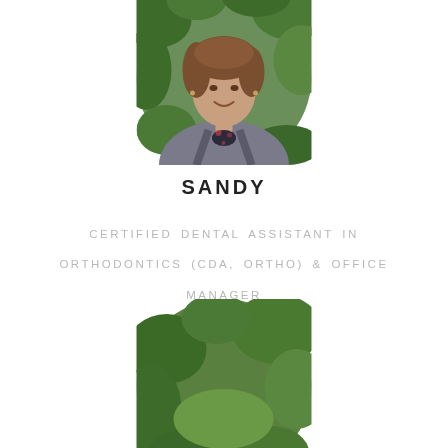[Figure (photo): Circular profile photo of Sandy, a woman with brown hair wearing a gray blazer and floral blouse, with green foliage in the background]
SANDY
CERTIFIED DENTAL ASSISTANT IN ORTHODONTICS (CDA, ORTHO) & OFFICE MANAGER
[Figure (infographic): Social media icons: Facebook, Twitter, LinkedIn, Instagram]
[Figure (photo): Circular profile photo (partially visible at bottom) showing greenery/foliage background]